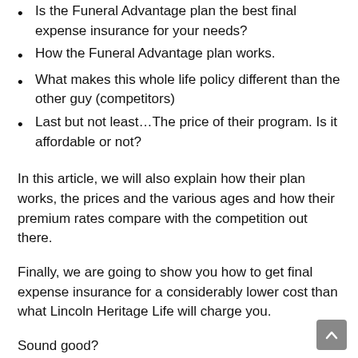Is the Funeral Advantage plan the best final expense insurance for your needs?
How the Funeral Advantage plan works.
What makes this whole life policy different than the other guy (competitors)
Last but not least…The price of their program. Is it affordable or not?
In this article, we will also explain how their plan works, the prices and the various ages and how their premium rates compare with the competition out there.
Finally, we are going to show you how to get final expense insurance for a considerably lower cost than what Lincoln Heritage Life will charge you.
Sound good?